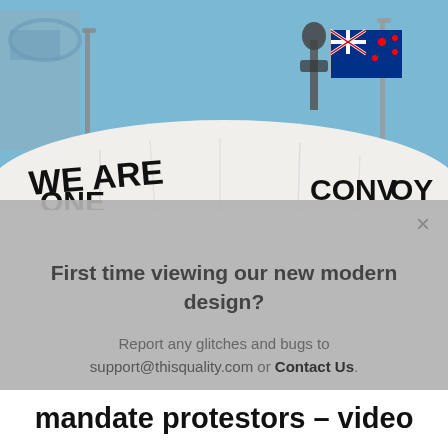[Figure (photo): Outdoor protest scene with a large white tent bearing text 'WE ARE ONE' and 'CONVOY', a statue silhouette, New Zealand flag, and blue sky background with buildings]
First time viewing our new modern design?

Report any glitches and bugs to support@thisquality.com or Contact Us.
mandate protestors – video